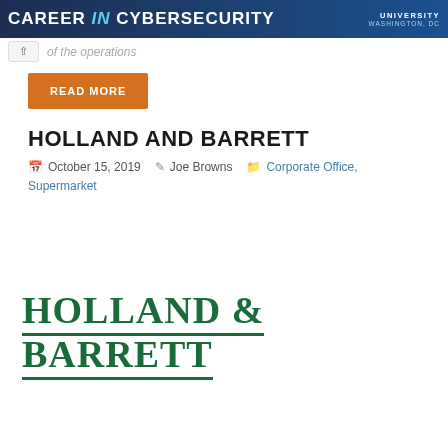[Figure (illustration): Banner advertisement for a cybersecurity career program at a university in Washington, DC. Dark blue background with 'CAREER in CYBERSECURITY' text and university logo on right.]
...of the operations
READ MORE
HOLLAND AND BARRETT
October 15, 2019  Joe Browns  Corporate Office, Supermarket
[Figure (logo): Holland & Barrett logo in dark green serif font with underline]